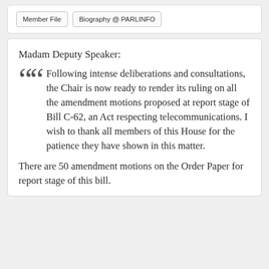Member File | Biography @ PARLINFO
Madam Deputy Speaker:
Following intense deliberations and consultations, the Chair is now ready to render its ruling on all the amendment motions proposed at report stage of Bill C-62, an Act respecting telecommunications. I wish to thank all members of this House for the patience they have shown in this matter.
There are 50 amendment motions on the Order Paper for report stage of this bill.